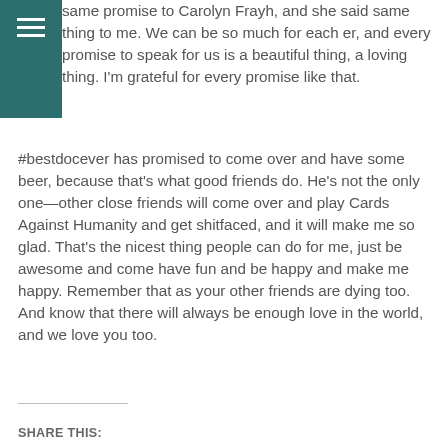[Figure (other): Teal/dark green hamburger menu icon (three horizontal white lines) on a dark teal square background in the upper left corner]
same promise to Carolyn Frayh, and she said same thing to me. We can be so much for each er, and every promise to speak for us is a beautiful thing, a loving thing. I'm grateful for every promise like that.
#bestdocever has promised to come over and have some beer, because that's what good friends do. He's not the only one—other close friends will come over and play Cards Against Humanity and get shitfaced, and it will make me so glad. That's the nicest thing people can do for me, just be awesome and come have fun and be happy and make me happy. Remember that as your other friends are dying too. And know that there will always be enough love in the world, and we love you too.
SHARE THIS: